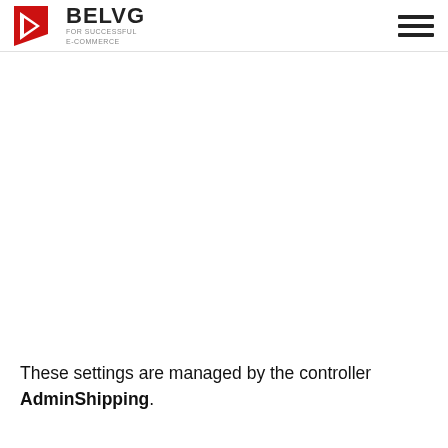BELVG FOR SUCCESSFUL E-COMMERCE
These settings are managed by the controller AdminShipping.